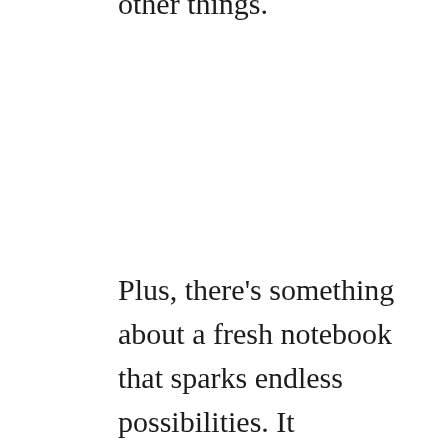write down ideas, draft posts, keep journals, and a thousand other things.
Plus, there's something about a fresh notebook that sparks endless possibilities. It encourages creativity and organization which we can all use more of, I think.
Now, instead of looking for deals at the store, I can make my own notebooks at home any time I need